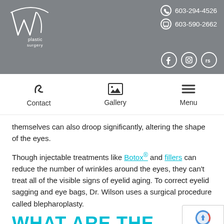W Plastic Surgery | 603-294-4526 | 603-590-2662
[Figure (logo): W Plastic Surgery logo - stylized W with 'plastic surgery' text below]
Contact | Gallery | Menu
themselves can also droop significantly, altering the shape of the eyes.
Though injectable treatments like Botox® and fillers can reduce the number of wrinkles around the eyes, they can't treat all of the visible signs of eyelid aging. To correct eyelid sagging and eye bags, Dr. Wilson uses a surgical procedure called blepharoplasty.
WHAT ARE THE